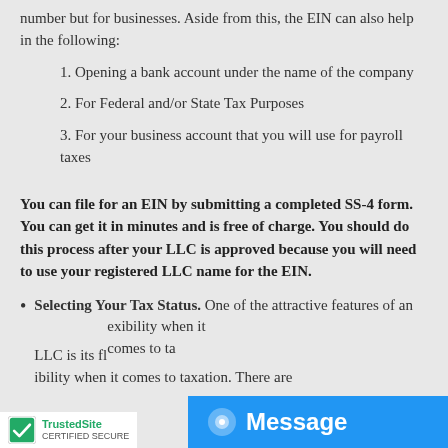number but for businesses. Aside from this, the EIN can also help in the following:
1. Opening a bank account under the name of the company
2. For Federal and/or State Tax Purposes
3. For your business account that you will use for payroll taxes
You can file for an EIN by submitting a completed SS-4 form. You can get it in minutes and is free of charge. You should do this process after your LLC is approved because you will need to use your registered LLC name for the EIN.
Selecting Your Tax Status. One of the attractive features of an LLC is its flexibility when it comes to taxation. There are